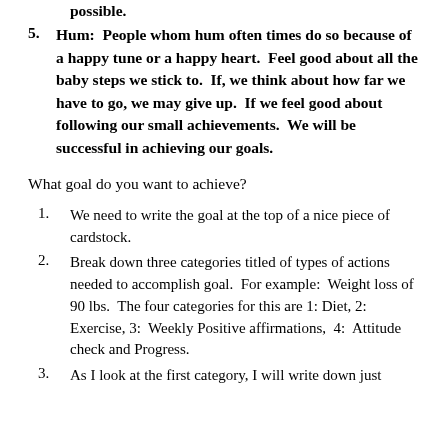possible.
Hum:  People whom hum often times do so because of a happy tune or a happy heart.  Feel good about all the baby steps we stick to.  If, we think about how far we have to go, we may give up.  If we feel good about following our small achievements.  We will be successful in achieving our goals.
What goal do you want to achieve?
We need to write the goal at the top of a nice piece of cardstock.
Break down three categories titled of types of actions needed to accomplish goal.  For example:  Weight loss of 90 lbs.  The four categories for this are 1: Diet, 2: Exercise, 3:  Weekly Positive affirmations,  4:  Attitude check and Progress.
As I look at the first category, I will write down just